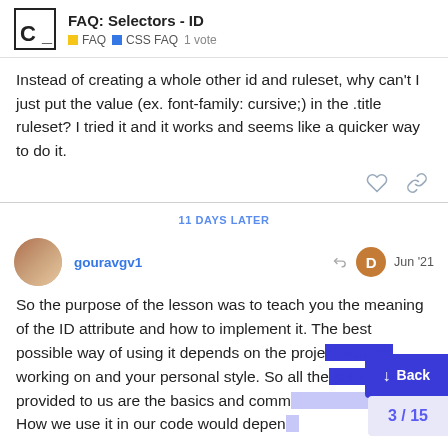FAQ: Selectors - ID | FAQ | CSS FAQ | 1 vote
Instead of creating a whole other id and ruleset, why can't I just put the value (ex. font-family: cursive;) in the .title ruleset? I tried it and it works and seems like a quicker way to do it.
11 DAYS LATER
gouravgv1 · Jun '21
So the purpose of the lesson was to teach you the meaning of the ID attribute and how to implement it. The best possible way of using it depends on the project you are working on and your personal style. So all the selectors provided to us are the basics and commonly used ones. How we use it in our code would depen...